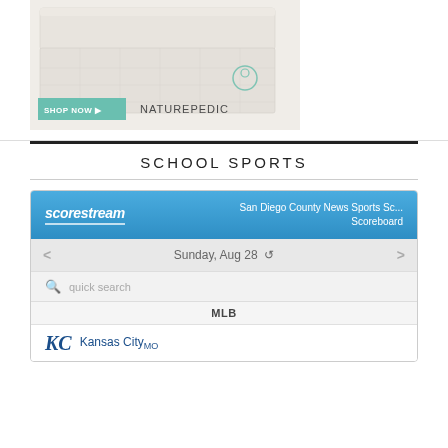[Figure (photo): Naturepedic mattress advertisement showing a mattress with topper, SHOP NOW button in teal, and Naturepedic logo]
SCHOOL SPORTS
[Figure (screenshot): Scorestream widget showing San Diego County News Sports Scoreboard for Sunday, Aug 28 with MLB section and Kansas City team entry]